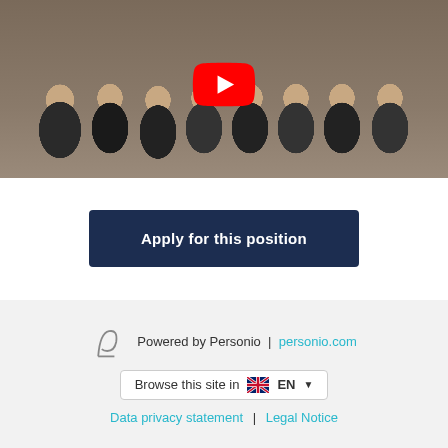[Figure (photo): Group photo of a team of approximately 25 people sitting and standing in an office/lounge area with plants and a patterned rug, with a YouTube play button overlay in the center]
Apply for this position
Powered by Personio | personio.com
Browse this site in EN
Data privacy statement | Legal Notice